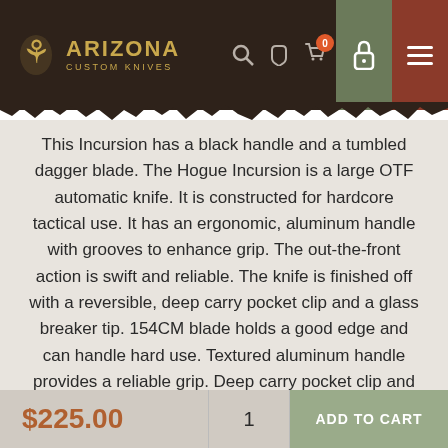Arizona Custom Knives
This Incursion has a black handle and a tumbled dagger blade. The Hogue Incursion is a large OTF automatic knife. It is constructed for hardcore tactical use. It has an ergonomic, aluminum handle with grooves to enhance grip. The out-the-front action is swift and reliable. The knife is finished off with a reversible, deep carry pocket clip and a glass breaker tip. 154CM blade holds a good edge and can handle hard use. Textured aluminum handle provides a reliable grip. Deep carry pocket clip and glass breaker. Comes with original box, sheath and papers. Excellent condition.
$225.00
1
ADD TO CART